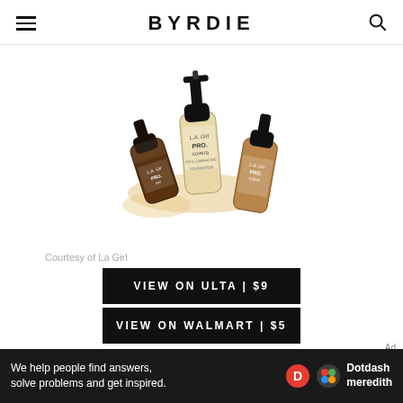BYRDIE
[Figure (photo): Three L.A. Girl PRO.coverage foundation bottles in different shades with pump dispensers, arranged on a white background with a smear of product.]
Courtesy of La Girl
VIEW ON ULTA | $9
VIEW ON WALMART | $5
We help people find answers, solve problems and get inspired.
Dotdash meredith